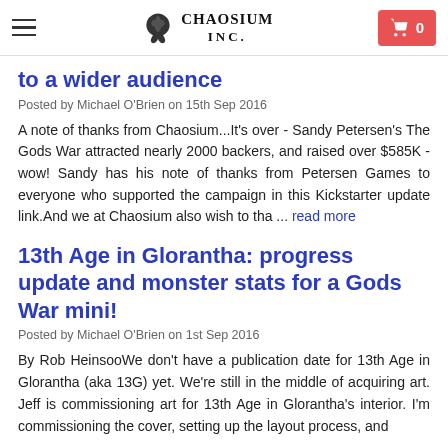Chaosium Inc.
to a wider audience
Posted by Michael O'Brien on 15th Sep 2016
A note of thanks from Chaosium...It's over - Sandy Petersen's The Gods War attracted nearly 2000 backers, and raised over $585K - wow! Sandy has his note of thanks from Petersen Games to everyone who supported the campaign in this Kickstarter update link.And we at Chaosium also wish to tha ... read more
13th Age in Glorantha: progress update and monster stats for a Gods War mini!
Posted by Michael O'Brien on 1st Sep 2016
By Rob HeinsooWe don't have a publication date for 13th Age in Glorantha (aka 13G) yet. We're still in the middle of acquiring art. Jeff is commissioning art for 13th Age in Glorantha's interior. I'm commissioning the cover, setting up the layout process, and